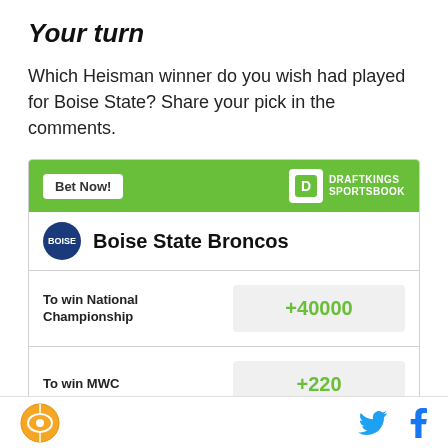Your turn
Which Heisman winner do you wish had played for Boise State? Share your pick in the comments.
[Figure (infographic): DraftKings Sportsbook betting widget showing Boise State Broncos odds: To win National Championship +40000, To win MWC +220]
SB Nation logo | Twitter and Facebook social icons